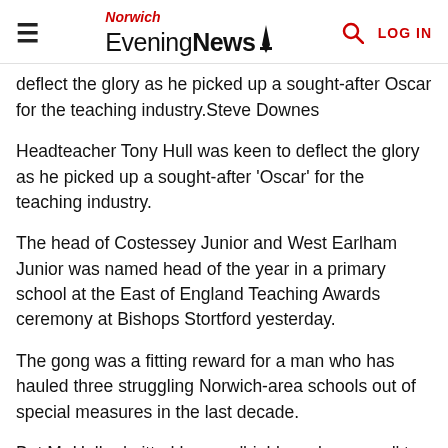Norwich Evening News
deflect the glory as he picked up a sought-after Oscar for the teaching industry.Steve Downes
Headteacher Tony Hull was keen to deflect the glory as he picked up a sought-after 'Oscar' for the teaching industry.
The head of Costessey Junior and West Earlham Junior was named head of the year in a primary school at the East of England Teaching Awards ceremony at Bishops Stortford yesterday.
The gong was a fitting reward for a man who has hauled three struggling Norwich-area schools out of special measures in the last decade.
But Mr Hull admitted he was 'highly embarrassed' to